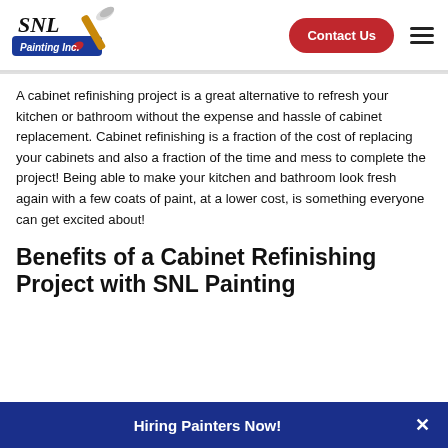SNL Painting Inc. — Contact Us
A cabinet refinishing project is a great alternative to refresh your kitchen or bathroom without the expense and hassle of cabinet replacement. Cabinet refinishing is a fraction of the cost of replacing your cabinets and also a fraction of the time and mess to complete the project! Being able to make your kitchen and bathroom look fresh again with a few coats of paint, at a lower cost, is something everyone can get excited about!
Benefits of a Cabinet Refinishing Project with SNL Painting
Hiring Painters Now!